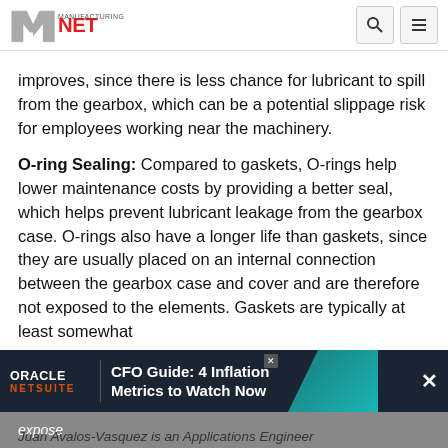Manufacturing.net
improves, since there is less chance for lubricant to spill from the gearbox, which can be a potential slippage risk for employees working near the machinery.
O-ring Sealing: Compared to gaskets, O-rings help lower maintenance costs by providing a better seal, which helps prevent lubricant leakage from the gearbox case. O-rings also have a longer life than gaskets, since they are usually placed on an internal connection between the gearbox case and cover and are therefore not exposed to the elements. Gaskets are typically at least somewhat expose
[Figure (other): Oracle NetSuite advertisement banner: CFO Guide: 4 Inflation Metrics to Watch Now]
Juan Avalos-Vasquez is an Applications Engineer